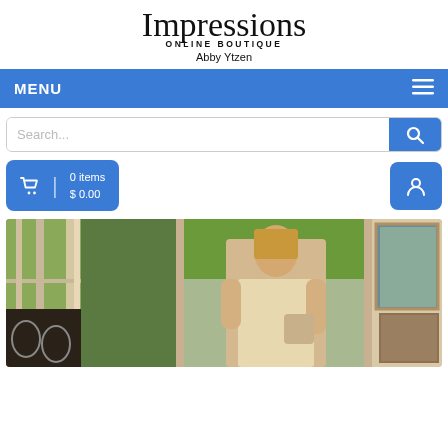[Figure (logo): Impressions Online Boutique logo with script font text and subtitle, followed by 'Abby Ytzen' name below]
MENU
[Figure (screenshot): Search bar with blue search button on the right]
[Figure (screenshot): Blue cart button showing '0 items $0.00' on left and blue user account button on right]
[Figure (photo): Woman in a beige lace mini dress standing in an open doorway with French doors, holding flowers, outdoor greenery visible, framed artwork on right side]